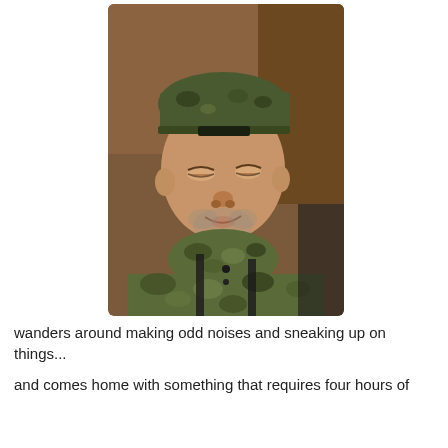[Figure (photo): A middle-aged man wearing a camouflage cap backwards and camouflage clothing, looking down and smiling slightly, with a short beard. He appears to be indoors against a wooden backdrop.]
wanders around making odd noises and sneaking up on things...
and comes home with something that requires four hours of